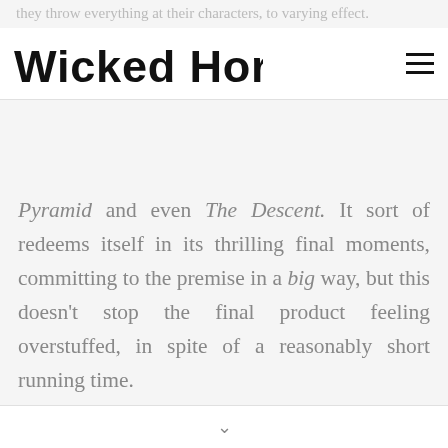Wicked Horror
they throw everything at their characters, to varying effect. ... into the caves be... the city to evoke memories of As Above, So Below, The Pyramid and even The Descent. It sort of redeems itself in its thrilling final moments, committing to the premise in a big way, but this doesn't stop the final product feeling overstuffed, in spite of a reasonably short running time.